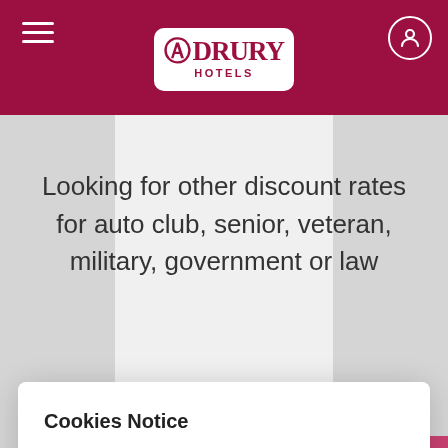[Figure (screenshot): Drury Hotels website header with dark red/maroon navigation bar, hamburger menu icon on left, Drury Hotels logo centered in white card, user account icon on right]
Looking for other discount rates for auto club, senior, veteran, military, government or law
Cookies Notice
By clicking "Allow All Cookies", you agree to the storing of cookies on your device to help us analyze site usage and our marketing efforts.
Cookies Policy
Allow All Cookies
Cookie Preferences